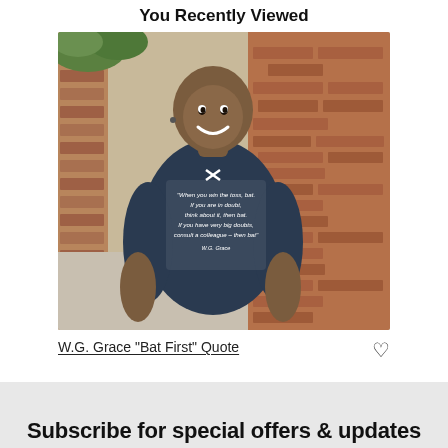You Recently Viewed
[Figure (photo): A smiling bald man wearing a navy blue t-shirt with a W.G. Grace cricket quote printed on it, standing in front of a brick wall outdoors.]
W.G. Grace "Bat First" Quote
Subscribe for special offers & updates